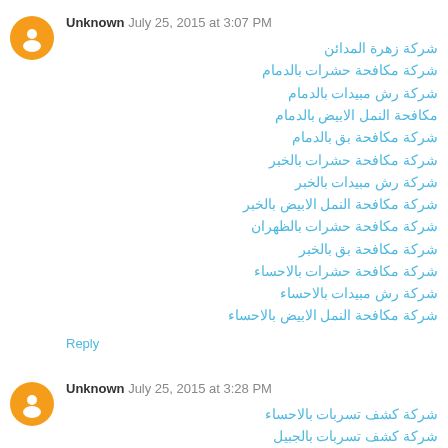Unknown July 25, 2015 at 3:07 PM
شركة زهرة المدائن
شركة مكافحة حشرات بالدمام
شركة رش مبيدات بالدمام
مكافحة النمل الابيض بالدمام
شركة مكافحة بق بالدمام
شركة مكافحة حشرات بالخبر
شركة رش مبيدات بالخبر
شركة مكافحة النمل الابيض بالخبر
شركة مكافحة حشرات بالظهران
شركة مكافحة بق بالخبر
شركة مكافحة حشرات بالاحساء
شركة رش مبيدات بالاحساء
شركة مكافحة النمل الابيض بالاحساء
Reply
Unknown July 25, 2015 at 3:28 PM
شركة كشف تسربات بالاحساء
شركة كشف تسربات بالجبيل
شركة مكافحة فنران بالاحساء